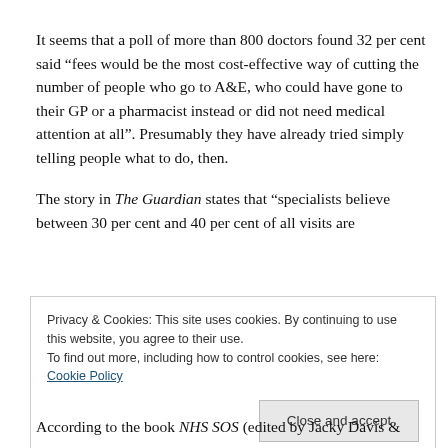It seems that a poll of more than 800 doctors found 32 per cent said “fees would be the most cost-effective way of cutting the number of people who go to A&E, who could have gone to their GP or a pharmacist instead or did not need medical attention at all”. Presumably they have already tried simply telling people what to do, then.
The story in The Guardian states that “specialists believe between 30 per cent and 40 per cent of all visits are
Privacy & Cookies: This site uses cookies. By continuing to use this website, you agree to their use.
To find out more, including how to control cookies, see here: Cookie Policy
According to the book NHS SOS (edited by Jacky Davis &